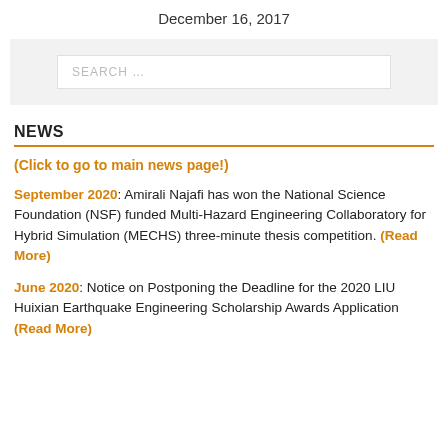December 16, 2017
SEARCH ...
NEWS
(Click to go to main news page!)
September 2020: Amirali Najafi has won the National Science Foundation (NSF) funded Multi-Hazard Engineering Collaboratory for Hybrid Simulation (MECHS) three-minute thesis competition. (Read More)
June 2020: Notice on Postponing the Deadline for the 2020 LIU Huixian Earthquake Engineering Scholarship Awards Application (Read More)